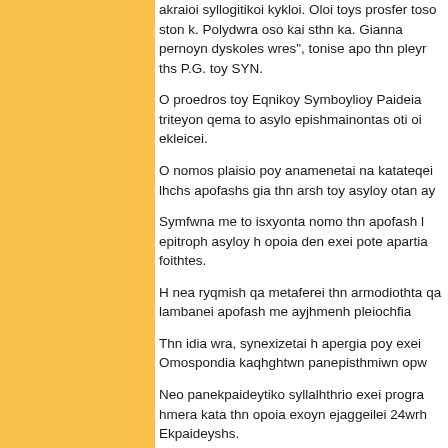akraioi syllogitikoi kykloi. Oloi toys prosfer... toso ston k. Polydwra oso kai sthn ka. Gianna... pernoyn dyskoles wres", tonise apo thn pleyr... ths P.G. toy SYN.
O proedros toy Eqnikoy Symboylioy Paideia... triteyon qema to asylo epishmainontas oti oi... ekleicei.
O nomos plaisio poy anamenetai na katateqei... lhchs apofashs gia thn arsh toy asyloy otan ay...
Symfwna me to isxyonta nomo thn apofash l... epitroph asyloy h opoia den exei pote apartia... foithtes.
H nea ryqmish qa metaferei thn armodiothta... qa lambanei apofash me ayjhmenh pleiochfia...
Thn idia wra, synexizetai h apergia poy exei... Omospondia kaqhghtwn panepisthmiwn opw...
Neo panekpaideytiko syllalhthrio exei progra... hmera kata thn opoia exoyn ejaggeilei 24wrh... Ekpaideyshs.